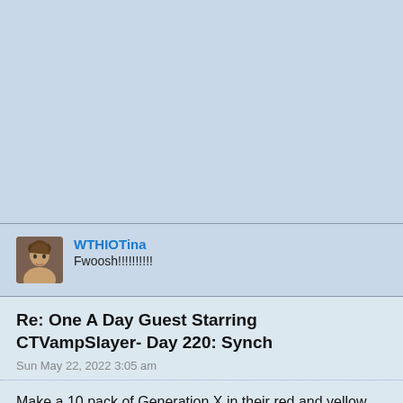[Figure (photo): Light blue background area at top of page]
WTHIOTina
Fwoosh!!!!!!!!!
Re: One A Day Guest Starring CTVampSlayer- Day 220: Synch
Sun May 22, 2022 3:05 am
Make a 10 pack of Generation X in their red and yellow